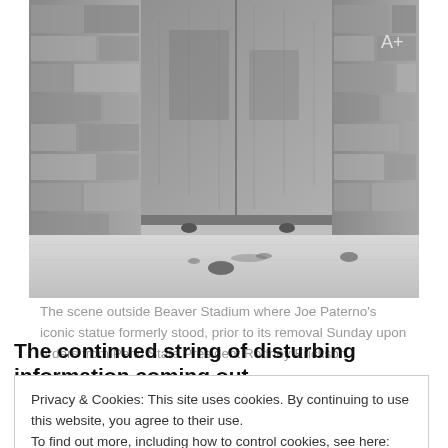[Figure (photo): Black and white photo of the scene outside Beaver Stadium where Joe Paterno's statue formerly stood — showing a concrete base, large stone/concrete wall, and a few small items on the ground.]
The scene outside Beaver Stadium where Joe Paterno's iconic statue formerly stood, prior to its removal Sunday upon orders from Penn State President Rodney Erickson.
The continued string of disturbing information coming out
Privacy & Cookies: This site uses cookies. By continuing to use this website, you agree to their use.
To find out more, including how to control cookies, see here: Cookie Policy
Close and accept